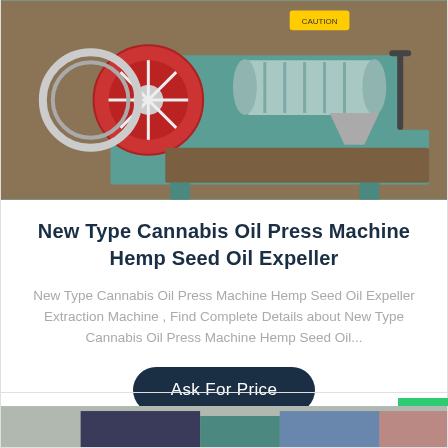[Figure (photo): Photo of a green cannabis/hemp seed oil press machine with red pulley wheel on a brown surface]
New Type Cannabis Oil Press Machine Hemp Seed Oil Expeller
New Type Cannabis Oil Press Machine Hemp Seed Oil Expeller Extraction Machine , Find Complete Details about New Type Cannabis Oil Press Machine Hemp Seed Oil...
Ask For Price
[Figure (photo): Partial photo of another machine visible at the bottom of the page]